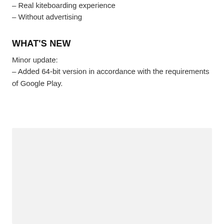– Real kiteboarding experience
– Without advertising
WHAT'S NEW
Minor update:
– Added 64-bit version in accordance with the requirements of Google Play.
[Figure (other): Light gray placeholder image area]